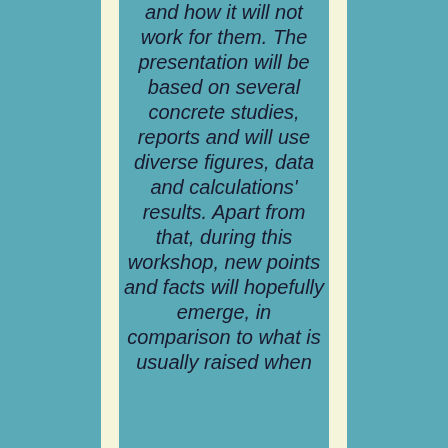and how it will not work for them. The presentation will be based on several concrete studies, reports and will use diverse figures, data and calculations' results. Apart from that, during this workshop, new points and facts will hopefully emerge, in comparison to what is usually raised when